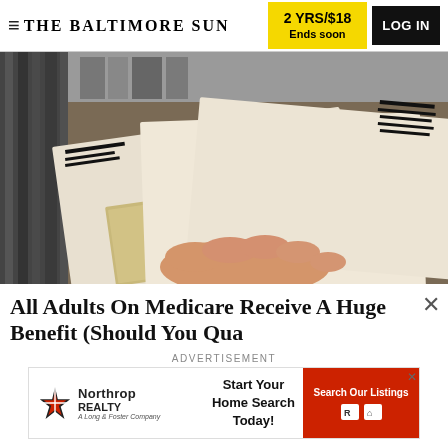THE BALTIMORE SUN | 2 YRS/$18 Ends soon | LOG IN
[Figure (photo): A hand holding multiple white envelopes with window cutouts showing cards inside, fanned out against a brown surface.]
All Adults On Medicare Receive A Huge Benefit (Should You Qualify)
ADVERTISEMENT
[Figure (infographic): Advertisement for Northrop Realty (A Long & Foster Company) with text 'Start Your Home Search Today!' and a red button 'Search Our Listings']